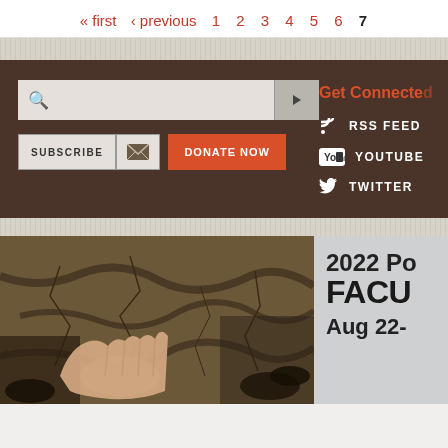« first  ‹ previous  1  2  3  4  5  6  7
[Figure (screenshot): Website widget section with dark brown background containing a search bar, subscribe/email/donate buttons, and Get Connected social links (RSS Feed, YouTube, Twitter)]
[Figure (photo): Hand touching soil or cracked earth, close-up photograph]
2022 Po
FACU
Aug 22-